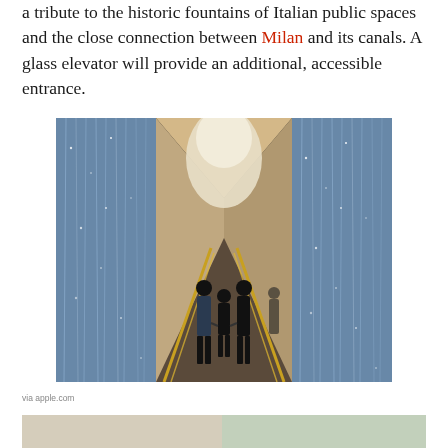a tribute to the historic fountains of Italian public spaces and the close connection between Milan and its canals. A glass elevator will provide an additional, accessible entrance.
[Figure (photo): Three people (two adults and a child) walking hand-in-hand down a futuristic corridor with shimmering water curtain walls on either side, leading toward a bright illuminated entrance. Gold angled railings frame the walkway.]
via apple.com
[Figure (photo): Partial photo at bottom of page showing a light-toned interior or architectural detail, partially cropped.]